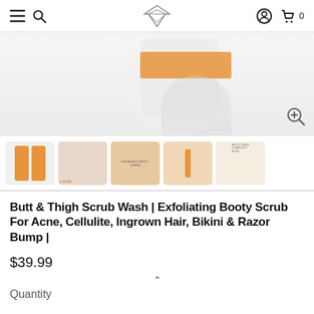Navigation bar with hamburger menu, search icon, logo, user account icon, and cart (0)
[Figure (photo): Product image showing white cream jar with orange label, partially cropped at top. Zoom icon in lower right corner.]
[Figure (photo): Thumbnail strip with 5 product images: orange tubes, woman applying product, product text on orange background, hand applying product, product label on light background.]
Butt & Thigh Scrub Wash | Exfoliating Booty Scrub For Acne, Cellulite, Ingrown Hair, Bikini & Razor Bump |
$39.99
Quantity